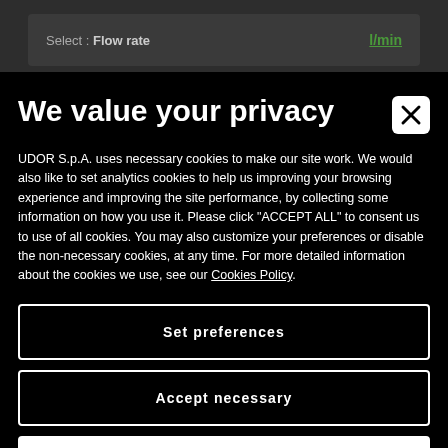[Figure (screenshot): Background web interface showing 'Select : Flow rate' bar with 'l/min' unit link in green, partially visible beneath modal overlay]
We value your privacy
UDOR S.p.A. uses necessary cookies to make our site work. We would also like to set analytics cookies to help us improving your browsing experience and improving the site performance, by collecting some information on how you use it. Please click "ACCEPT ALL" to consent us to use of all cookies. You may also customize your preferences or disable the non-necessary cookies, at any time. For more detailed information about the cookies we use, see our Cookies Policy.
Set preferences
Accept necessary
Accept all